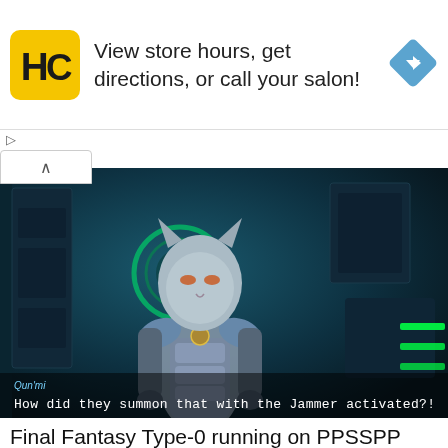[Figure (screenshot): Ad banner with HC (Hair Club) yellow logo, text 'View store hours, get directions, or call your salon!', and a blue diamond navigation arrow icon on the right]
[Figure (screenshot): Game screenshot from Final Fantasy Type-0 running on PPSSPP emulator, showing a cat-like armored character (Qun'mi) with subtitle: 'How did they summon that with the Jammer activated?!']
Final Fantasy Type-0 running on PPSSPP (PSP emulator)